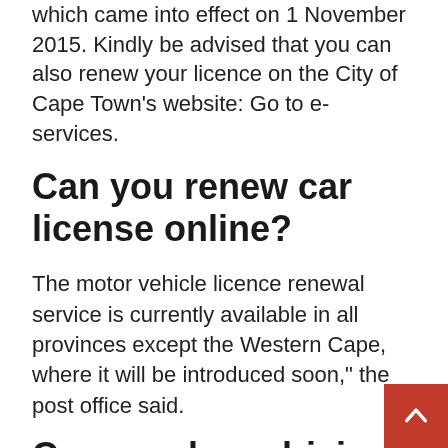which came into effect on 1 November 2015. Kindly be advised that you can also renew your licence on the City of Cape Town's website: Go to e-services.
Can you renew car license online?
The motor vehicle licence renewal service is currently available in all provinces except the Western Cape, where it will be introduced soon," the post office said.
Can we show driving Licence in Mobile?